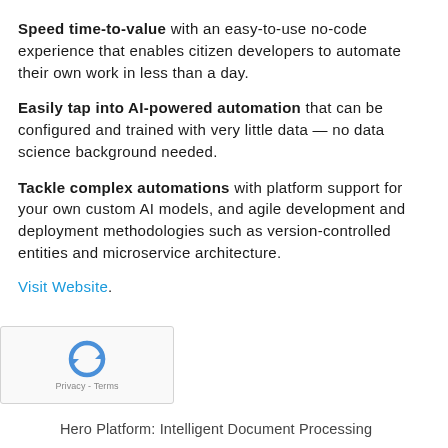Speed time-to-value with an easy-to-use no-code experience that enables citizen developers to automate their own work in less than a day.
Easily tap into AI-powered automation that can be configured and trained with very little data — no data science background needed.
Tackle complex automations with platform support for your own custom AI models, and agile development and deployment methodologies such as version-controlled entities and microservice architecture.
Visit Website.
[Figure (logo): reCAPTCHA logo with recycle-arrow icon and 'Privacy - Terms' text below]
Hero Platform: Intelligent Document Processing